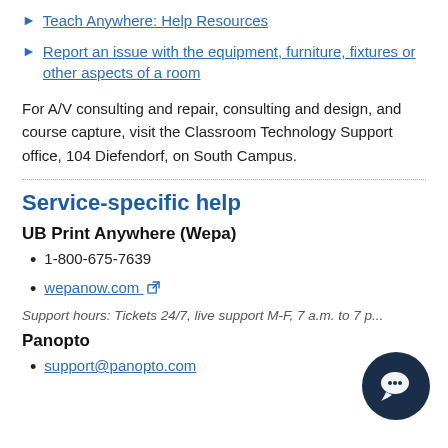Teach Anywhere: Help Resources
Report an issue with the equipment, furniture, fixtures or other aspects of a room
For A/V consulting and repair, consulting and design, and course capture, visit the Classroom Technology Support office, 104 Diefendorf, on South Campus.
Service-specific help
UB Print Anywhere (Wepa)
1-800-675-7639
wepanow.com
Support hours: Tickets 24/7, live support M-F, 7 a.m. to 7 p...
Panopto
support@panopto.com